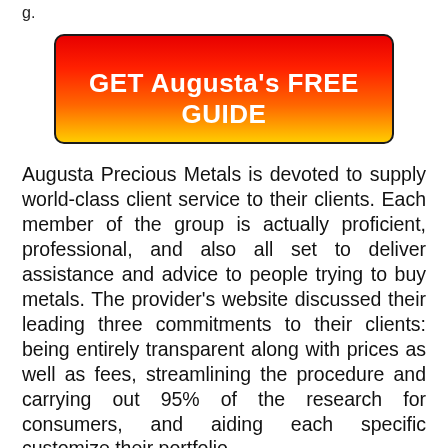[Figure (other): Red-to-yellow gradient call-to-action button with text 'GET Augusta's FREE GUIDE' in bold white letters]
Augusta Precious Metals is devoted to supply world-class client service to their clients. Each member of the group is actually proficient, professional, and also all set to deliver assistance and advice to people trying to buy metals. The provider's website discussed their leading three commitments to their clients: being entirely transparent along with prices as well as fees, streamlining the procedure and carrying out 95% of the research for consumers, and aiding each specific customize their portfolio